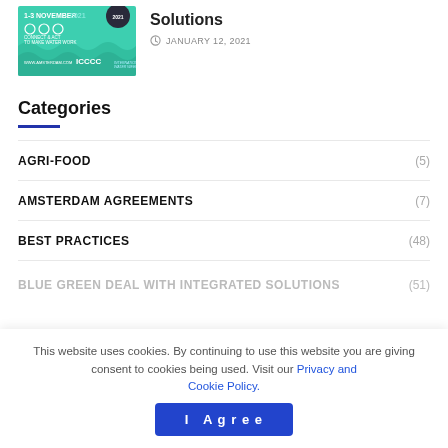[Figure (photo): Event banner for IWA World Water Congress, 1-3 November 2021, teal/green background with wave pattern and ICCCO logo]
Solutions
JANUARY 12, 2021
Categories
AGRI-FOOD (5)
AMSTERDAM AGREEMENTS (7)
BEST PRACTICES (48)
BLUE GREEN DEAL WITH INTEGRATED SOLUTIONS (51)
This website uses cookies. By continuing to use this website you are giving consent to cookies being used. Visit our Privacy and Cookie Policy.
I Agree